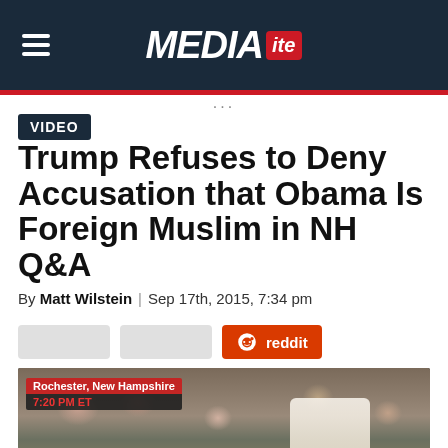MEDIA ITE
VIDEO
Trump Refuses to Deny Accusation that Obama Is Foreign Muslim in NH Q&A
By Matt Wilstein | Sep 17th, 2015, 7:34 pm
[Figure (screenshot): Reddit share button and two other social share buttons]
[Figure (photo): TV screenshot from Rochester, New Hampshire showing a crowd and a man in a white shirt, time stamp 7:20 PM ET]